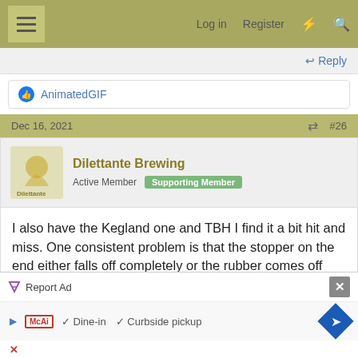Log in   Register
AnimatedGIF
Dec 16, 2021   #26
Dilettante Brewing
Active Member   Supporting Member
I also have the Kegland one and TBH I find it a bit hit and miss. One consistent problem is that the stopper on the end either falls off completely or the rubber comes off and ends up in your bottle of beer or elsewhere. That is probably the most consistently annoying issue. Otherwise I find it inconsistent as to whether I can bottle from a carbonated keg without
Report Ad